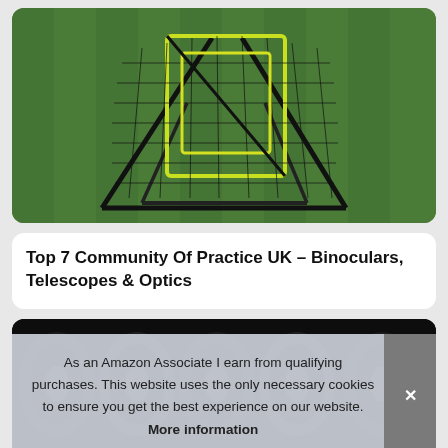[Figure (photo): Photo of a black sports rebounder/kickback net with yellow-green border detail on a green artificial grass background]
Top 7 Community Of Practice UK – Binoculars, Telescopes & Optics
[Figure (photo): Photo of multiple black rolled yoga/exercise mats arranged in a row]
As an Amazon Associate I earn from qualifying purchases. This website uses the only necessary cookies to ensure you get the best experience on our website. More information